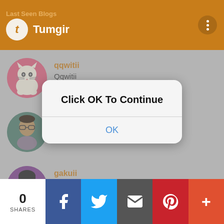Last Seen Blogs — Tumgir
[Figure (screenshot): Mobile app screenshot showing Tumgir blog list with user avatars: qqwitii (Qqwitii), mikeghubossian (Mike Ghaubossian), gakuii (Feast for the eyes), and a fourth partially visible user. A modal dialog overlays the screen with the message 'Click OK To Continue' and an OK button.]
qqwitii
Qqwitii
mikeghubossian
Mike Ghaubossian
gakuii
Feast for the eyes
Click OK To Continue
OK
0 SHARES